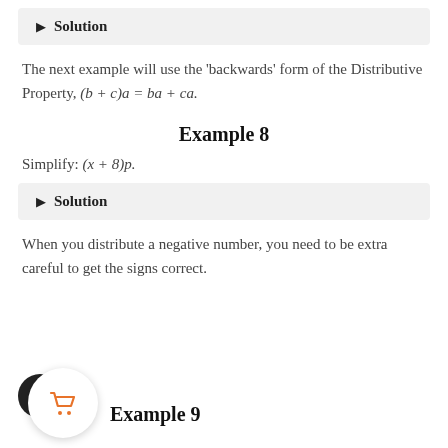▶ Solution
The next example will use the 'backwards' form of the Distributive Property, (b + c)a = ba + ca.
Example 8
Simplify: (x + 8)p.
▶ Solution
When you distribute a negative number, you need to be extra careful to get the signs correct.
Example 9